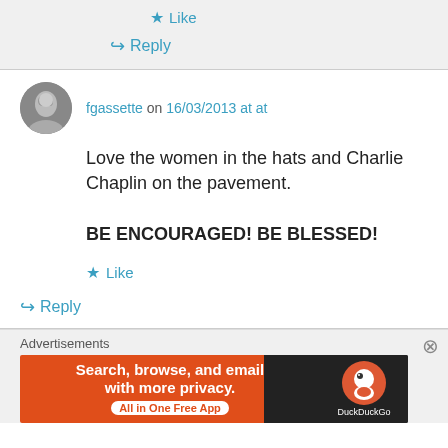Like
Reply
fgassette on 16/03/2013 at at
Love the women in the hats and Charlie Chaplin on the pavement.

BE ENCOURAGED! BE BLESSED!
Like
Reply
[Figure (infographic): DuckDuckGo advertisement banner: orange background with text 'Search, browse, and email with more privacy. All in One Free App' and DuckDuckGo logo on dark background]
Advertisements